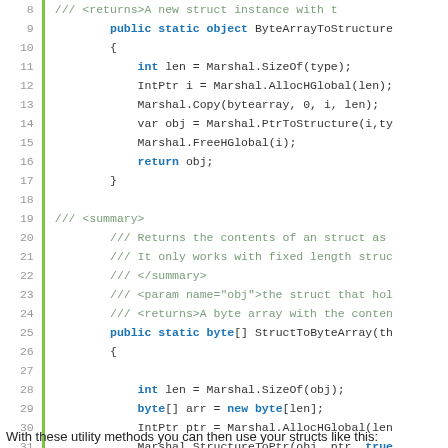[Figure (screenshot): Code listing in a monospaced font showing C# methods ByteArrayToStructure and StructToByteArray with syntax highlighting (line numbers 8-36), with a green vertical bar on the left margin.]
With these utility methods you can then use your structs like this: